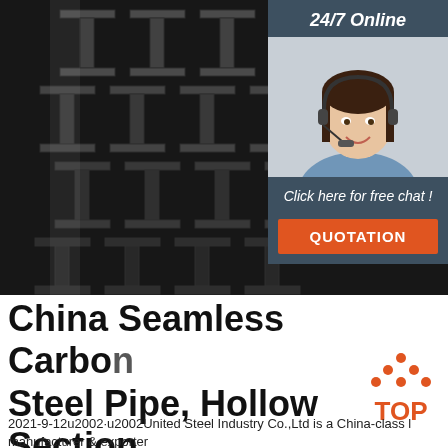[Figure (photo): Stacked dark carbon steel H-beam / hollow section steel pipes viewed from the end, showing channel profile arrangement in a dark industrial setting]
24/7 Online
[Figure (photo): Customer service representative woman wearing headset, smiling, in blue shirt]
Click here for free chat !
QUOTATION
China Seamless Carbon Steel Pipe, Hollow Section Pipe ...
[Figure (logo): TOP logo with orange dots forming a triangle above the word TOP in orange]
2021-9-12u2002·u2002United Steel Industry Co.,Ltd is a China-class l manufacturer & exporter